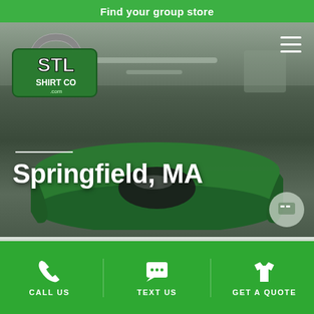Find your group store
[Figure (screenshot): STL Shirt Co. logo in top-left corner of the website hero image area, showing the St. Louis Gateway Arch integrated into the logo design]
[Figure (photo): Hero photograph of a screen printing shop showing a green t-shirt on a printing platen, with industrial screen-printing carousel equipment visible in background. Location text overlay: Springfield, MA]
Springfield, MA
[Figure (other): Chat/support bubble icon in gray circle at lower-right of hero image]
CALL US   TEXT US   GET A QUOTE